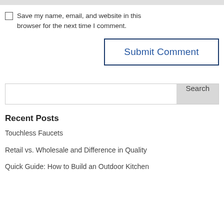Save my name, email, and website in this browser for the next time I comment.
Submit Comment
Search
Recent Posts
Touchless Faucets
Retail vs. Wholesale and Difference in Quality
Quick Guide: How to Build an Outdoor Kitchen